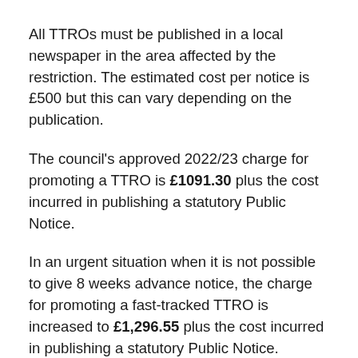All TTROs must be published in a local newspaper in the area affected by the restriction. The estimated cost per notice is £500 but this can vary depending on the publication.
The council's approved 2022/23 charge for promoting a TTRO is £1091.30 plus the cost incurred in publishing a statutory Public Notice.
In an urgent situation when it is not possible to give 8 weeks advance notice, the charge for promoting a fast-tracked TTRO is increased to £1,296.55 plus the cost incurred in publishing a statutory Public Notice.
What happens next?